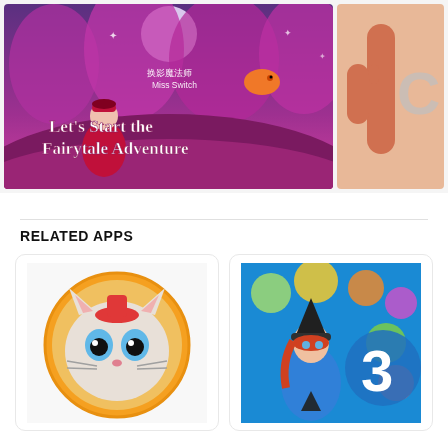[Figure (screenshot): Miss Switch game screenshot - pink/purple fairytale scene with character and text 'Let's Start the Fairytale Adventure']
[Figure (screenshot): Partial screenshot of another app visible on the right side]
RELATED APPS
[Figure (screenshot): Talking Angela app icon - cartoon cat with orange circular border]
[Figure (screenshot): Bubble Witch 3 app icon - witch character with bubbles and number 3]